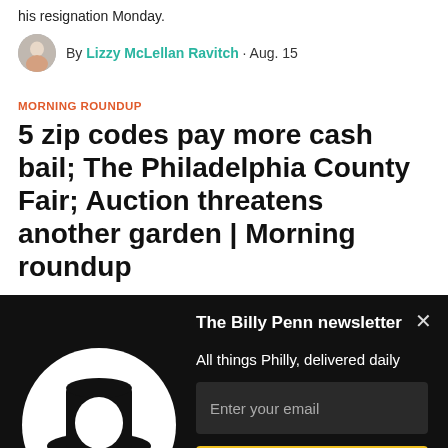his resignation Monday.
By Lizzy McLellan Ravitch · Aug. 15
MORNING ROUNDUP
5 zip codes pay more cash bail; The Philadelphia County Fair; Auction threatens another garden | Morning roundup
The Billy Penn newsletter
All things Philly, delivered daily
Enter your email
GET IT